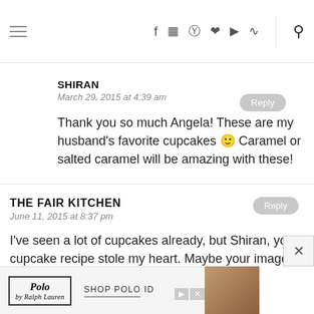Navigation bar with hamburger menu, social icons (f, Instagram, Pinterest, heart, YouTube, RSS), and search icon
SHIRAN
March 29, 2015 at 4:39 am
Thank you so much Angela! These are my husband's favorite cupcakes 🙂 Caramel or salted caramel will be amazing with these!
THE FAIR KITCHEN
June 11, 2015 at 8:37 pm
I've seen a lot of cupcakes already, but Shiran, your cupcake recipe stole my heart. Maybe your images really helped a
[Figure (other): Polo by Ralph Lauren advertisement banner with shop text and leather bag image]